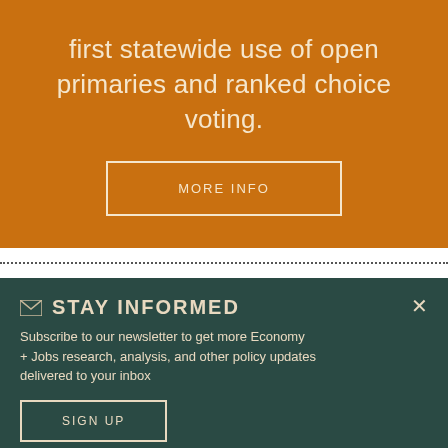first statewide use of open primaries and ranked choice voting.
MORE INFO
STAY INFORMED
Subscribe to our newsletter to get more Economy + Jobs research, analysis, and other policy updates delivered to your inbox
SIGN UP